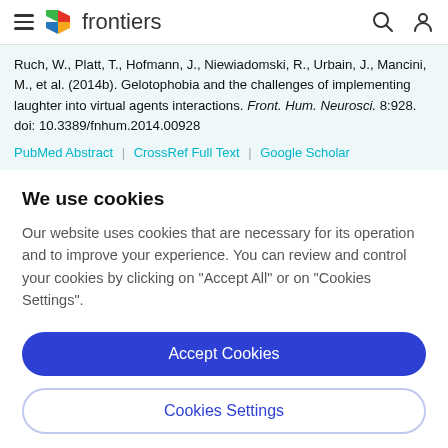frontiers
Ruch, W., Platt, T., Hofmann, J., Niewiadomski, R., Urbain, J., Mancini, M., et al. (2014b). Gelotophobia and the challenges of implementing laughter into virtual agents interactions. Front. Hum. Neurosci. 8:928. doi: 10.3389/fnhum.2014.00928
PubMed Abstract | CrossRef Full Text | Google Scholar
We use cookies
Our website uses cookies that are necessary for its operation and to improve your experience. You can review and control your cookies by clicking on "Accept All" or on "Cookies Settings".
Accept Cookies
Cookies Settings